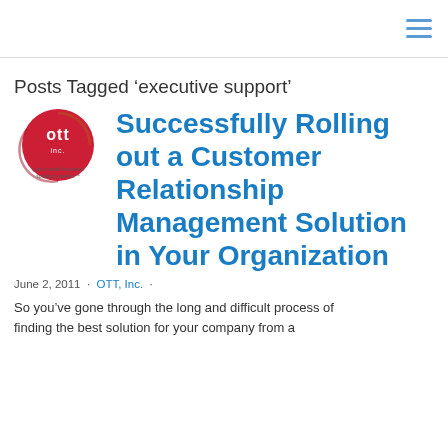≡ (hamburger menu icon)
Posts Tagged ‘executive support’
[Figure (logo): OTT Inc. logo — red circular badge with 'ott' text and 'your trusted business solutions partner.' tagline]
Successfully Rolling out a Customer Relationship Management Solution in Your Organization
June 2, 2011 · OTT, Inc. ·
So you've gone through the long and difficult process of finding the best solution for your company from a